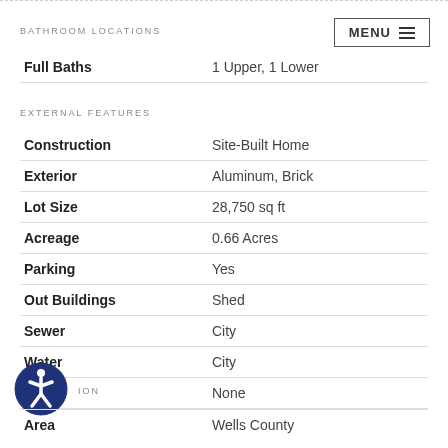BATHROOM LOCATIONS
|  |  |
| --- | --- |
| Full Baths | 1 Upper, 1 Lower |
EXTERNAL FEATURES
|  |  |
| --- | --- |
| Construction | Site-Built Home |
| Exterior | Aluminum, Brick |
| Lot Size | 28,750 sq ft |
| Acreage | 0.66 Acres |
| Parking | Yes |
| Out Buildings | Shed |
| Sewer | City |
| Water | City |
| Fence | None |
LOCATION
|  |  |
| --- | --- |
| Area | Wells County |